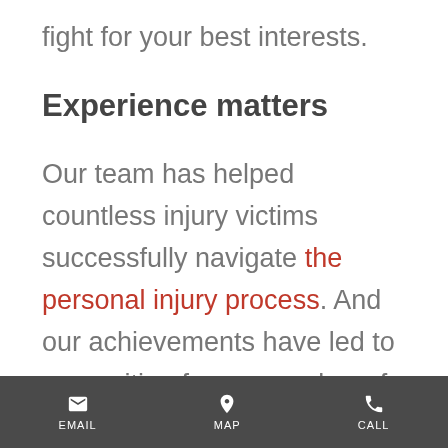fight for your best interests.
Experience matters
Our team has helped countless injury victims successfully navigate the personal injury process. And our achievements have led to recognition from a number of
EMAIL  MAP  CALL